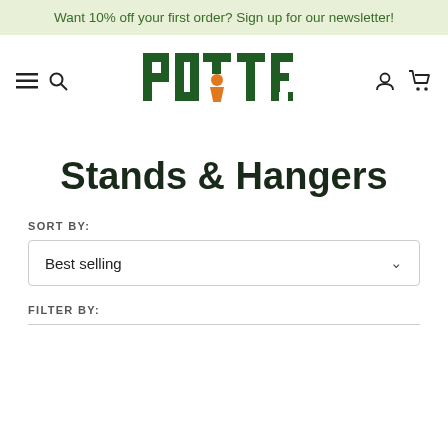Want 10% off your first order? Sign up for our newsletter!
[Figure (logo): POTTED brand logo in dark green block letters with an orange pot/figure in the center]
Stands & Hangers
SORT BY:
Best selling
FILTER BY: